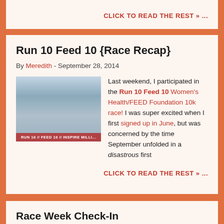CLICK TO READ THE REST » ...
Run 10 Feed 10 {Race Recap}
By Meredith - September 28, 2014
[Figure (photo): Photo collage showing runners and crowd at Run 10 Feed 10 / Inspire Millions event]
Last weekend, I participated in the Run 10 Feed 10 Women's Health/FEED Foundation 10k race! I was super excited when I first signed up in June, but was concerned by the time September unfolded in a disastrous first
CLICK TO READ THE REST » ...
Race Week Check-In